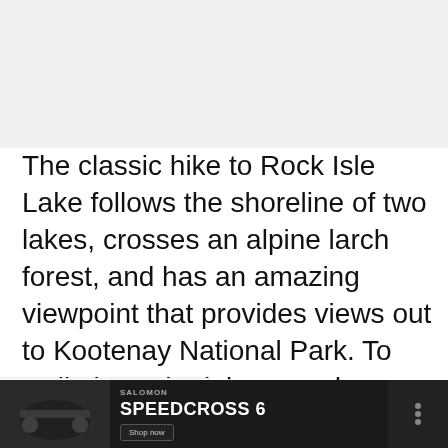[Figure (photo): Top image area, mostly white/light gray, partially visible photo of outdoor/landscape scene]
The classic hike to Rock Isle Lake follows the shoreline of two lakes, crosses an alpine larch forest, and has an amazing viewpoint that provides views out to Kootenay National Park. To walk through alpine meadows feels like something out of a fairytale; it is sublime.
[Figure (photo): Thumbnail image of a blue alpine lake, used in 'What's Next' sidebar widget for 10 Moraine Lake Hikes]
[Figure (photo): Bottom advertisement banner: Salomon Speedcross 6 shoe ad with dark background, partial outdoor photo on the left, brand name and product name in white text, and a 'Shop now' button]